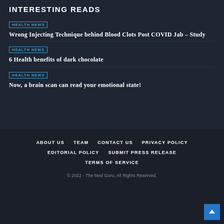INTERESTING READS
HEALTH NEWS
Wrong Injecting Technique behind Blood Clots Post COVID Jab – Study
HEALTH NEWS
6 Health benefits of dark chocolate
HEALTH NEWS
Now, a brain scan can read your emotional state!
ABOUT US  TEAM  CONTACT US  PRIVACY POLICY  EDITORIAL POLICY  SUBMIT PRESS RELEASE  TERMS OF SERVICE
© 2022 - The Med Guru. All Rights Reserved.